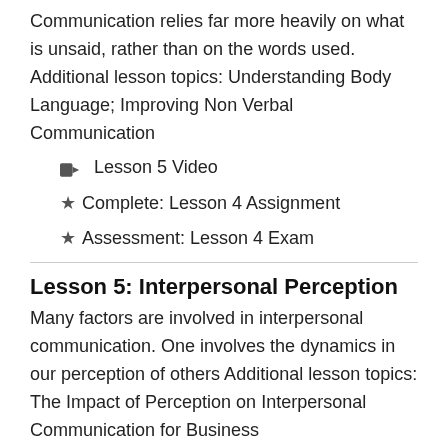Communication relies far more heavily on what is unsaid, rather than on the words used. Additional lesson topics: Understanding Body Language; Improving Non Verbal Communication
Lesson 5 Video
Complete: Lesson 4 Assignment
Assessment: Lesson 4 Exam
Lesson 5: Interpersonal Perception
Many factors are involved in interpersonal communication. One involves the dynamics in our perception of others Additional lesson topics: The Impact of Perception on Interpersonal Communication for Business
Lesson 6 Video
Assessment: Lesson 5 Exam